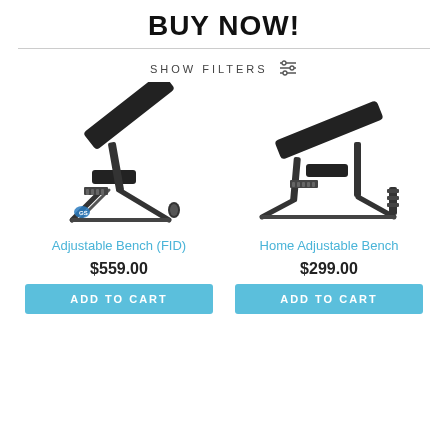BUY NOW!
SHOW FILTERS
[Figure (photo): Adjustable Bench (FID) - black incline weight bench with blue accents, shown at an angle]
Adjustable Bench (FID)
$559.00
ADD TO CART
[Figure (photo): Home Adjustable Bench - black incline weight bench, shown at an angle]
Home Adjustable Bench
$299.00
ADD TO CART